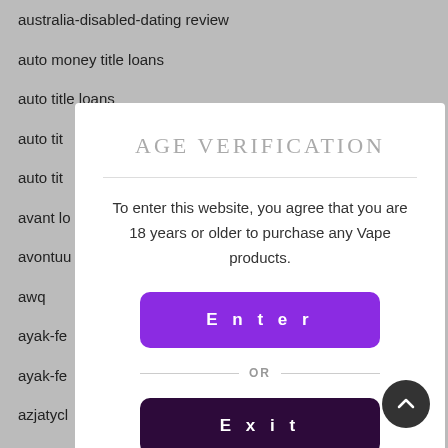australia-disabled-dating review
auto money title loans
auto title loans
auto tit...
auto tit...
avant lo...
avontuu...
awq
ayak-fe...
ayak-fe...
azjatycl...
azjatycl...
babel da...
babel ko...
AGE VERIFICATION
To enter this website, you agree that you are 18 years or older to purchase any Vape products.
Enter
OR
Exit